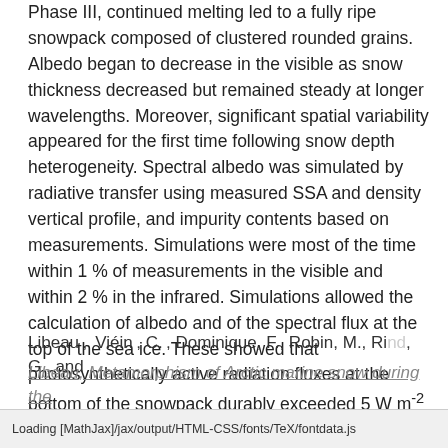Phase III, continued melting led to a fully ripe snowpack composed of clustered rounded grains. Albedo began to decrease in the visible as snow thickness decreased but remained steady at longer wavelengths. Moreover, significant spatial variability appeared for the first time following snow depth heterogeneity. Spectral albedo was simulated by radiative transfer using measured SSA and density vertical profile, and impurity contents based on measurements. Simulations were most of the time within 1 % of measurements in the visible and within 2 % in the infrared. Simulations allowed the calculation of albedo and of the spectral flux at the top of the sea ice. These showed that photosynthetically active radiation fluxes at the bottom of the snowpack durably exceeded 5 W m⁻² (about 9.2 μmol m⁻² s⁻¹) only when the snowpack thickness started to decrease at the end of Phase II.
Libeau et al., Metamorphism of Arctic marine snow during the
Loading [MathJax]/jax/output/HTML-CSS/fonts/TeX/fontdata.js